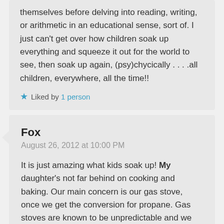themselves before delving into reading, writing, or arithmetic in an educational sense, sort of. I just can't get over how children soak up everything and squeeze it out for the world to see, then soak up again, (psy)chycically . . . .all children, everywhere, all the time!!
Liked by 1 person
Fox
August 26, 2012 at 10:00 PM
It is just amazing what kids soak up! My daughter's not far behind on cooking and baking. Our main concern is our gas stove, once we get the conversion for propane. Gas stoves are known to be unpredictable and we want to make sure it's going to be safe and reliable before we let her use it for much. We've already had one blow with a huge fireball and we were